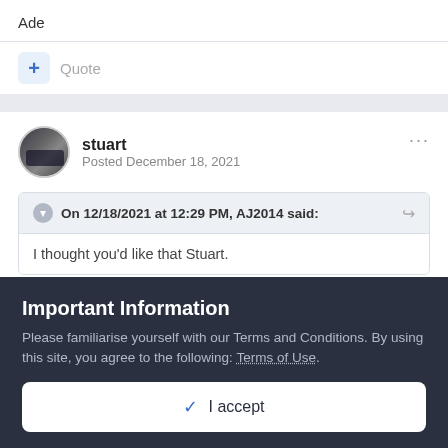Ade
Quote
stuart
Posted December 18, 2021
On 12/18/2021 at 12:29 PM, AJ2014 said:
I thought you'd like that Stuart.
Important Information
Please familiarise yourself with our Terms and Conditions. By using this site, you agree to the following: Terms of Use.
I accept